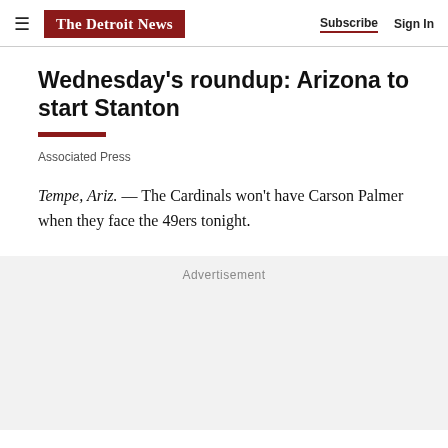The Detroit News | Subscribe | Sign In
Wednesday's roundup: Arizona to start Stanton
Associated Press
Tempe, Ariz. — The Cardinals won't have Carson Palmer when they face the 49ers tonight.
Advertisement